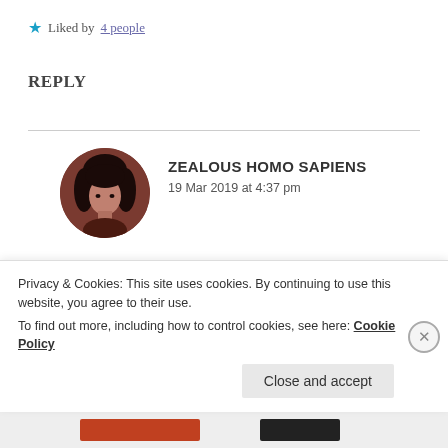Liked by 4 people
REPLY
[Figure (photo): Circular avatar photo of a person with dark hair, reddish-brown toned portrait]
ZEALOUS HOMO SAPIENS
19 Mar 2019 at 4:37 pm
Thanks!
Privacy & Cookies: This site uses cookies. By continuing to use this website, you agree to their use.
To find out more, including how to control cookies, see here: Cookie Policy
Close and accept